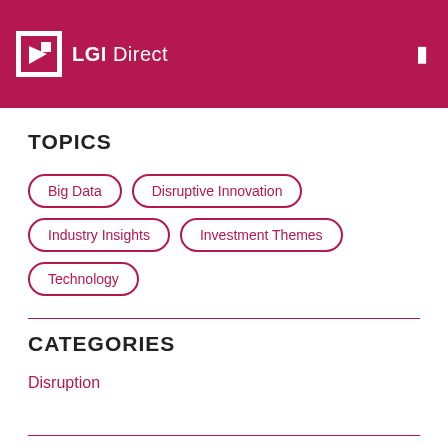LGI Direct
TOPICS
Big Data
Disruptive Innovation
Industry Insights
Investment Themes
Technology
CATEGORIES
Disruption